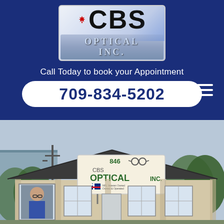[Figure (logo): CBS Optical Inc. logo with maple leaf icon, white and blue gradient background, 'OPTICAL INC.' text on steel-blue banner]
Call Today to book your Appointment
709-834-5202
[Figure (photo): Exterior photo of CBS Optical Inc. storefront building at 846, showing signage with eyeglasses icon, tan/beige siding, dark shingled roof, and display windows with eyewear advertisements]